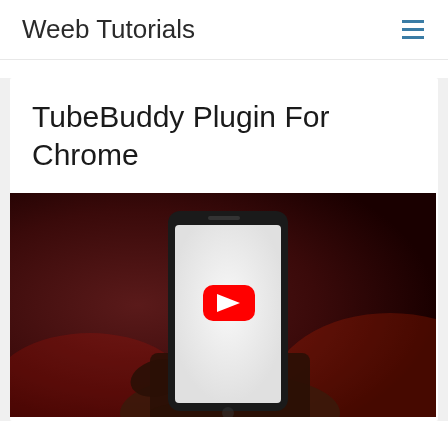Weeb Tutorials
TubeBuddy Plugin For Chrome
[Figure (photo): A hand holding a smartphone displaying the YouTube app logo (red play button) on a white screen, against a dark reddish-brown background.]